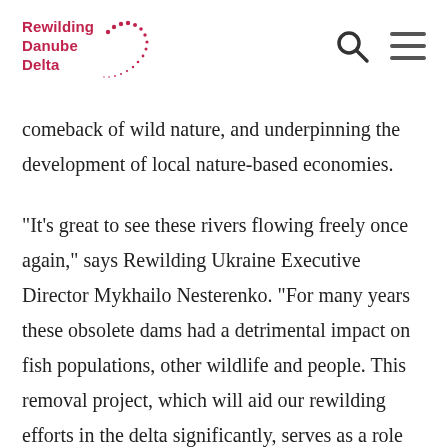Rewilding Danube Delta
comeback of wild nature, and underpinning the development of local nature-based economies.
“It’s great to see these rivers flowing freely once again,” says Rewilding Ukraine Executive Director Mykhailo Nesterenko. “For many years these obsolete dams had a detrimental impact on fish populations, other wildlife and people. This removal project, which will aid our rewilding efforts in the delta significantly, serves as a role model for other outdated dams across the delta and Ukraine.”